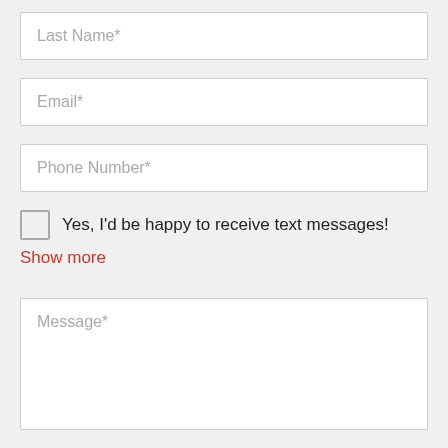[Figure (screenshot): Web form with input fields for Last Name, Email, Phone Number, a checkbox for text messages, a Show more link, a Message textarea, and a reCAPTCHA notice.]
Last Name*
Email*
Phone Number*
Yes, I'd be happy to receive text messages!
Show more
Message*
This site is protected by reCAPTCHA and the Google